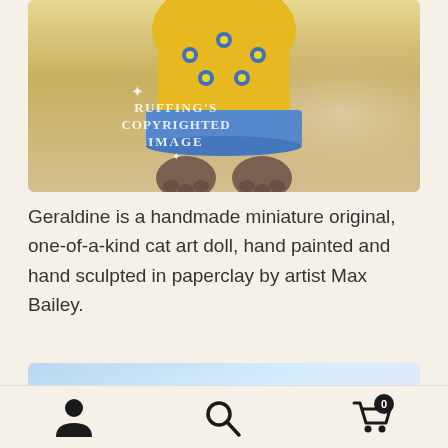[Figure (photo): Close-up photo of a handmade cat art doll wearing a yellow dress with blue flower details and a blue collar/skirt, showing the cat's paws at the bottom. White watermark text reads RUFFING'S COPYRIGHTED IMAGE.]
Geraldine is a handmade miniature original, one-of-a-kind cat art doll, hand painted and hand sculpted in paperclay by artist Max Bailey.
[Figure (photo): Photo of a handmade miniature cat art doll face peeking up from the bottom of the frame, with detailed painted features, yellow eyes, striped tabby markings, and a pink nose, against a soft pastel blue and yellow background.]
Navigation bar with person/account icon, search icon, and shopping cart icon with badge showing 0